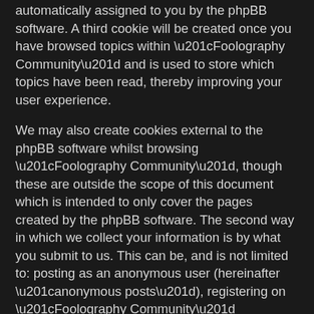automatically assigned to you by the phpBB software. A third cookie will be created once you have browsed topics within “Foolography Community” and is used to store which topics have been read, thereby improving your user experience.
We may also create cookies external to the phpBB software whilst browsing “Foolography Community”, though these are outside the scope of this document which is intended to only cover the pages created by the phpBB software. The second way in which we collect your information is by what you submit to us. This can be, and is not limited to: posting as an anonymous user (hereinafter “anonymous posts”), registering on “Foolography Community” (hereinafter “your account”) and posts submitted by you after registration and whilst logged in (hereinafter “your posts”).
Your account will at a bare minimum contain a uniquely identifiable name (hereinafter “your user name”), a personal password used for logging into your account